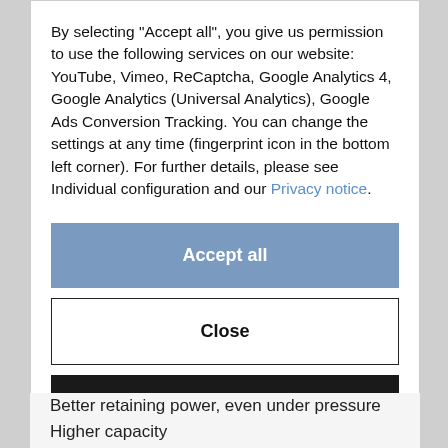By selecting "Accept all", you give us permission to use the following services on our website: YouTube, Vimeo, ReCaptcha, Google Analytics 4, Google Analytics (Universal Analytics), Google Ads Conversion Tracking. You can change the settings at any time (fingerprint icon in the bottom left corner). For further details, please see Individual configuration and our Privacy notice.
Accept all
Close
Configuration
Better retaining power, even under pressure
Higher capacity